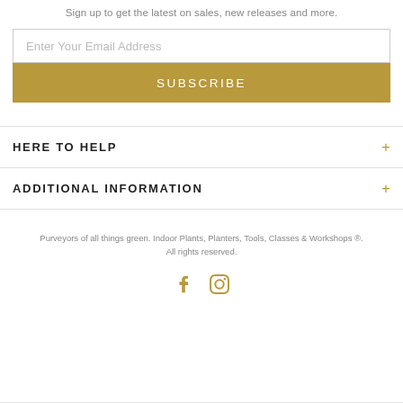Sign up to get the latest on sales, new releases and more.
Enter Your Email Address
SUBSCRIBE
HERE TO HELP
ADDITIONAL INFORMATION
Purveyors of all things green. Indoor Plants, Planters, Tools, Classes & Workshops ®. All rights reserved.
[Figure (illustration): Facebook and Instagram social media icons in gold color]